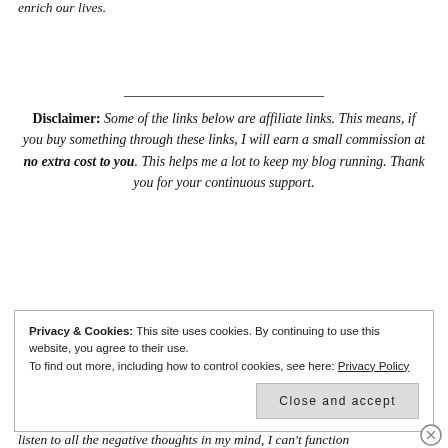enrich our lives.
Disclaimer: Some of the links below are affiliate links. This means, if you buy something through these links, I will earn a small commission at no extra cost to you. This helps me a lot to keep my blog running. Thank you for your continuous support.
Privacy & Cookies: This site uses cookies. By continuing to use this website, you agree to their use.
To find out more, including how to control cookies, see here: Privacy Policy
Close and accept
listen to all the negative thoughts in my mind, I can't function